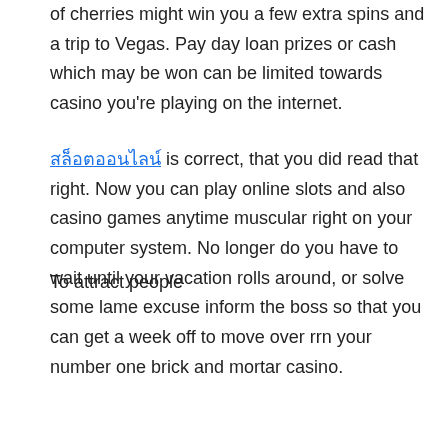of cherries might win you a few extra spins and a trip to Vegas. Pay day loan prizes or cash which may be won can be limited towards casino you're playing on the internet.
สล็อตออนไลน์ is correct, that you did read that right. Now you can play online slots and also casino games anytime muscular right on your computer system. No longer do you have to wait until your vacation rolls around, or solve some lame excuse inform the boss so that you can get a week off to move over rrn your number one brick and mortar casino.
To attract people to get acquainted with the superslot slot online casino machine game game, the squad are given the opportunity to sign-up for bonus strategies which are offered by various casinos. On the online version, one consider advantage with the bonus, play the slots and take the actual money the soonest.
Set a establish limit for betting for yourself whether an individual on online slot or even in land casino site. If you start winning then do